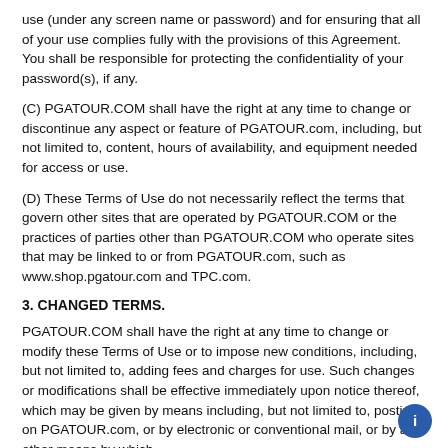use (under any screen name or password) and for ensuring that all of your use complies fully with the provisions of this Agreement. You shall be responsible for protecting the confidentiality of your password(s), if any.
(C) PGATOUR.COM shall have the right at any time to change or discontinue any aspect or feature of PGATOUR.com, including, but not limited to, content, hours of availability, and equipment needed for access or use.
(D) These Terms of Use do not necessarily reflect the terms that govern other sites that are operated by PGATOUR.COM or the practices of parties other than PGATOUR.COM who operate sites that may be linked to or from PGATOUR.com, such as www.shop.pgatour.com and TPC.com.
3. CHANGED TERMS.
PGATOUR.COM shall have the right at any time to change or modify these Terms of Use or to impose new conditions, including, but not limited to, adding fees and charges for use. Such changes or modifications shall be effective immediately upon notice thereof, which may be given by means including, but not limited to, posting on PGATOUR.com, or by electronic or conventional mail, or by any other means by which